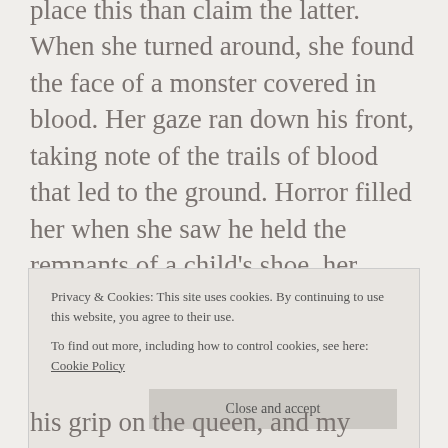place this than claim the latter. When she turned around, she found the face of a monster covered in blood. Her gaze ran down his front, taking note of the trails of blood that led to the ground. Horror filled her when she saw he held the remnants of a child's shoe, her child's shoe.

Queen Aloria awoke with a start. She jumped out of bed, sweat covering her face. The king rose and reached out to her, fearing for his wife. In doing so, her fears were heightened, and she grabbed his sword from the wall. He pleaded with her to
Privacy & Cookies: This site uses cookies. By continuing to use this website, you agree to their use.
To find out more, including how to control cookies, see here: Cookie Policy
Close and accept
his grip on the queen, and my father's wishes